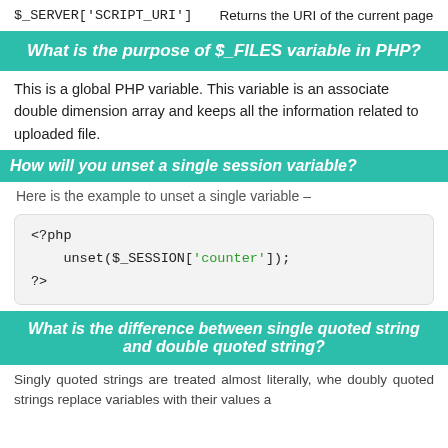| Variable | Description |
| --- | --- |
| $_SERVER['SCRIPT_URI'] | Returns the URI of the current page |
What is the purpose of $_FILES variable in PHP?
This is a global PHP variable. This variable is an associate double dimension array and keeps all the information related to uploaded file.
How will you unset a single session variable?
Here is the example to unset a single variable –
[Figure (screenshot): PHP code block showing: <?php unset($_SESSION['counter']); ?>]
What is the difference between single quoted string and double quoted string?
Singly quoted strings are treated almost literally, whereas doubly quoted strings replace variables with their values a